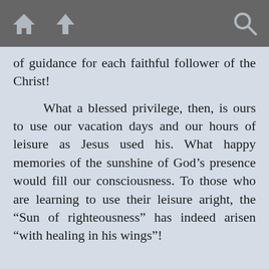[toolbar with home, up, and search icons]
of guidance for each faithful follower of the Christ!

What a blessed privilege, then, is ours to use our vacation days and our hours of leisure as Jesus used his. What happy memories of the sunshine of God’s presence would fill our consciousness. To those who are learning to use their leisure aright, the “Sun of righteousness” has indeed arisen “with healing in his wings”!